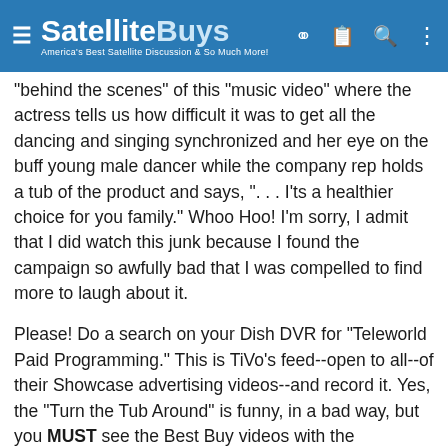SatelliteBuys — America's Best Satellite Discussion & So Much More!
"behind the scenes" of this "music video" where the actress tells us how difficult it was to get all the dancing and singing synchronized and her eye on the buff young male dancer while the company rep holds a tub of the product and says, ". . . I'ts a healthier choice for you family." Whoo Hoo! I'm sorry, I admit that I did watch this junk because I found the campaign so awfully bad that I was compelled to find more to laugh about it.
Please! Do a search on your Dish DVR for "Teleworld Paid Programming." This is TiVo's feed--open to all--of their Showcase advertising videos--and record it. Yes, the "Turn the Tub Around" is funny, in a bad way, but you MUST see the Best Buy videos with the extremely knowledgeable Best Buy sales kids who are articulate technical experts solving tech problems